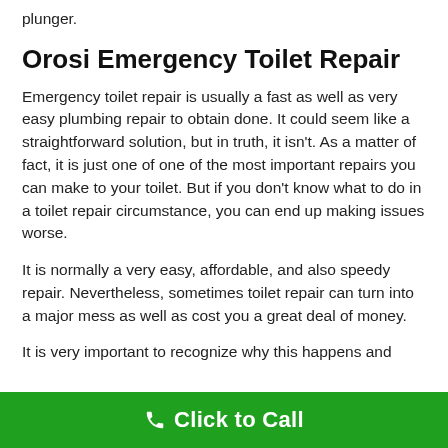plunger.
Orosi Emergency Toilet Repair
Emergency toilet repair is usually a fast as well as very easy plumbing repair to obtain done. It could seem like a straightforward solution, but in truth, it isn't. As a matter of fact, it is just one of one of the most important repairs you can make to your toilet. But if you don't know what to do in a toilet repair circumstance, you can end up making issues worse.
It is normally a very easy, affordable, and also speedy repair. Nevertheless, sometimes toilet repair can turn into a major mess as well as cost you a great deal of money.
It is very important to recognize why this happens and
Click to Call